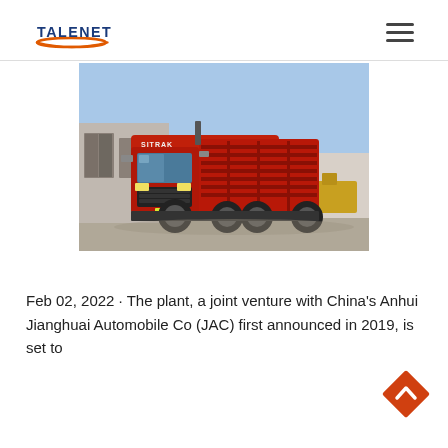TALENET
[Figure (photo): A red Sitrak heavy-duty dump truck parked in a yard, front-right three-quarter view, with industrial buildings and a yellow construction vehicle in the background, blue sky.]
Feb 02, 2022 · The plant, a joint venture with China's Anhui Jianghuai Automobile Co (JAC) first announced in 2019, is set to